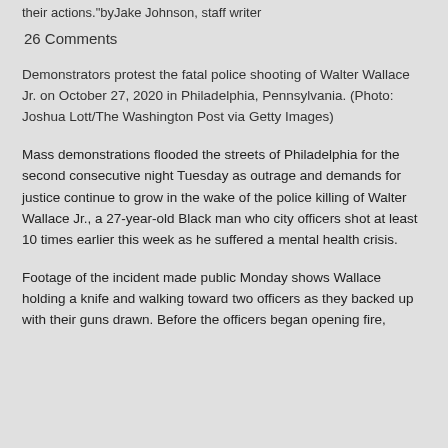their actions."byJake Johnson, staff writer
26 Comments
Demonstrators protest the fatal police shooting of Walter Wallace Jr. on October 27, 2020 in Philadelphia, Pennsylvania. (Photo: Joshua Lott/The Washington Post via Getty Images)
Mass demonstrations flooded the streets of Philadelphia for the second consecutive night Tuesday as outrage and demands for justice continue to grow in the wake of the police killing of Walter Wallace Jr., a 27-year-old Black man who city officers shot at least 10 times earlier this week as he suffered a mental health crisis.
Footage of the incident made public Monday shows Wallace holding a knife and walking toward two officers as they backed up with their guns drawn. Before the officers began opening fire,